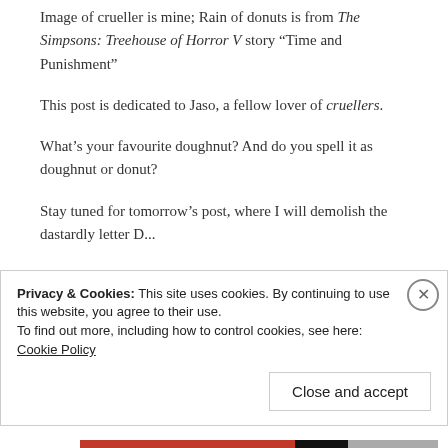Image of crueller is mine; Rain of donuts is from The Simpsons: Treehouse of Horror V story “Time and Punishment”
This post is dedicated to Jaso, a fellow lover of cruellers.
What’s your favourite doughnut? And do you spell it as doughnut or donut?
Stay tuned for tomorrow’s post, where I will demolish the dastardly letter D...
Privacy & Cookies: This site uses cookies. By continuing to use this website, you agree to their use.
To find out more, including how to control cookies, see here: Cookie Policy
Close and accept